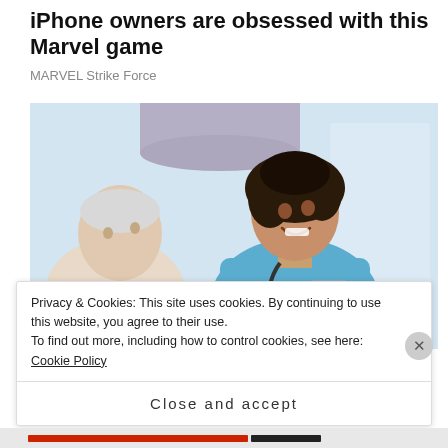iPhone owners are obsessed with this Marvel game
MARVEL Strike Force
[Figure (photo): A smiling female nurse in blue scrubs with a stethoscope talking to an elderly male patient.]
Privacy & Cookies: This site uses cookies. By continuing to use this website, you agree to their use.
To find out more, including how to control cookies, see here: Cookie Policy
Close and accept